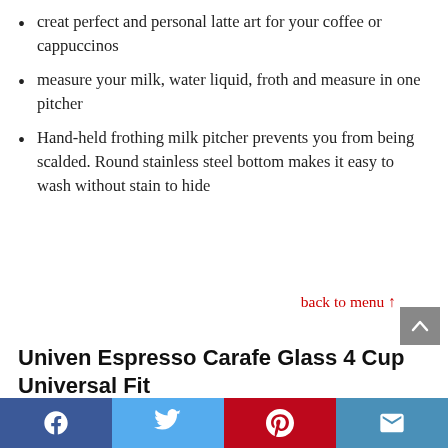creat perfect and personal latte art for your coffee or cappuccinos
measure your milk, water liquid, froth and measure in one pitcher
Hand-held frothing milk pitcher prevents you from being scalded. Round stainless steel bottom makes it easy to wash without stain to hide
back to menu ↑
Univen Espresso Carafe Glass 4 Cup Universal Fit